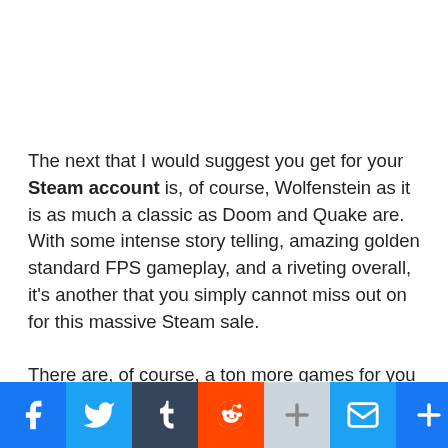The next that I would suggest you get for your Steam account is, of course, Wolfenstein as it is as much a classic as Doom and Quake are. With some intense story telling, amazing golden standard FPS gameplay, and a riveting overall, it's another that you simply cannot miss out on for this massive Steam sale.
There are, of course, a ton more games for you to go buy. These are only my top two suggestions. Check out the Quakecon sale on Steam before it